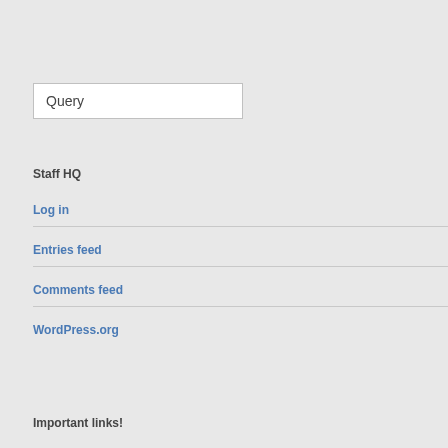Query
Staff HQ
Log in
Entries feed
Comments feed
WordPress.org
Important links!